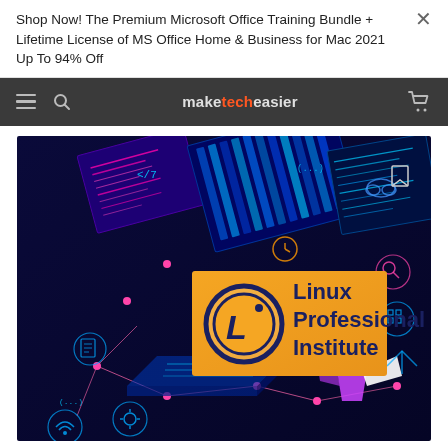Shop Now! The Premium Microsoft Office Training Bundle + Lifetime License of MS Office Home & Business for Mac 2021 Up To 94% Off
maketecheasier
[Figure (screenshot): Linux Professional Institute promotional banner image with dark blue isometric tech background showing code on screens, connected nodes, and a large orange rectangle containing the Linux Professional Institute logo (orange circle with L) and the text 'Linux Professional Institute' in dark navy bold text.]